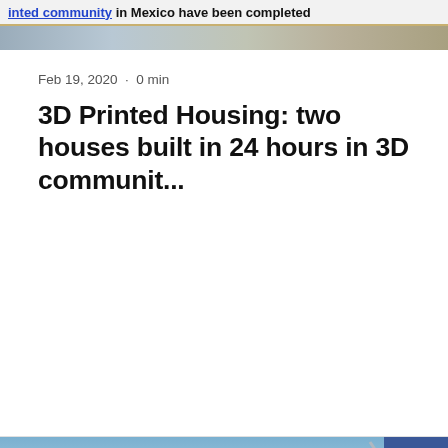inted community in Mexico have been completed
[Figure (photo): Header image strip from article about 3D printed community in Mexico]
Feb 19, 2020 · 0 min
3D Printed Housing: two houses built in 24 hours in 3D communit...
[Figure (photo): Wind turbines against blue sky, with a play button overlay indicating a video, and a scroll-to-top button in top right corner]
Denmark report: record-breaking